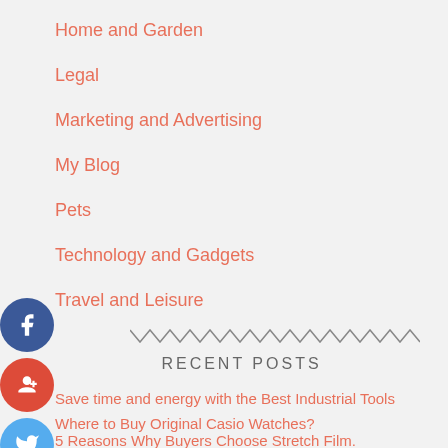Home and Garden
Legal
Marketing and Advertising
My Blog
Pets
Technology and Gadgets
Travel and Leisure
[Figure (illustration): Zigzag/wavy decorative divider line in dark gray]
RECENT POSTS
Save time and energy with the Best Industrial Tools
Where to Buy Original Casio Watches?
5 Reasons Why Buyers Choose Stretch Film.